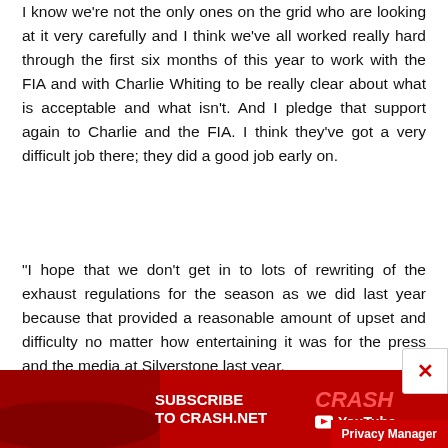I know we're not the only ones on the grid who are looking at it very carefully and I think we've all worked really hard through the first six months of this year to work with the FIA and with Charlie Whiting to be really clear about what is acceptable and what isn't. And I pledge that support again to Charlie and the FIA. I think they've got a very difficult job there; they did a good job early on.
"I hope that we don't get in to lots of rewriting of the exhaust regulations for the season as we did last year because that provided a reasonable amount of upset and difficulty no matter how entertaining it was for the press and the media at Silverstone last year.
[Figure (screenshot): Advertisement banner for Crash.net YouTube channel with red background, 'SUBSCRIBE TO CRASH.NET' text on left and 'CRASH YouTube' branding on right, with a close X button and Privacy Manager button.]